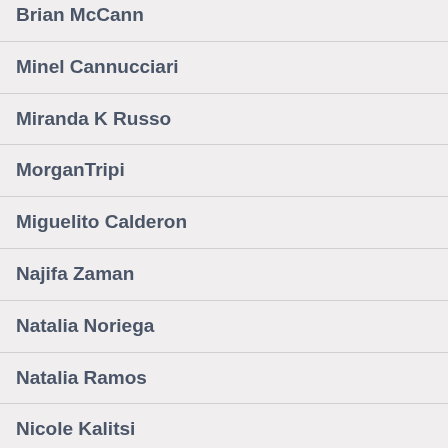Brian McCann
Minel Cannucciari
Miranda K Russo
MorganTripi
Miguelito Calderon
Najifa Zaman
Natalia Noriega
Natalia Ramos
Nicole Kalitsi